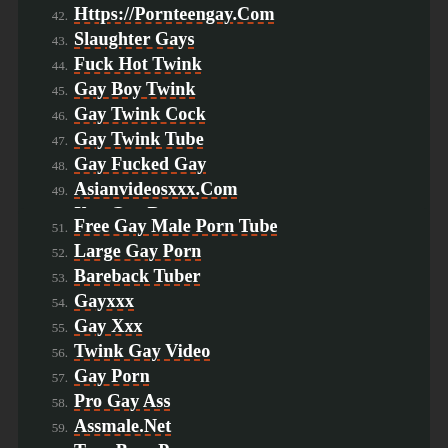42. Https://Pornteengay.Com
43. Slaughter Gays
44. Fuck Hot Twink
45. Gay Boy Twink
46. Gay Twink Cock
47. Gay Twink Tube
48. Gay Fucked Gay
49. Asianvideosxxx.Com
50. Xxx Gay Boys
51. Free Gay Male Porn Tube
52. Large Gay Porn
53. Bareback Tuber
54. Gayxxx
55. Gay Xxx
56. Twink Gay Video
57. Gay Porn
58. Pro Gay Ass
59. Assmale.Net
60. Teen Boys Porn
61. Gay Teen Sex